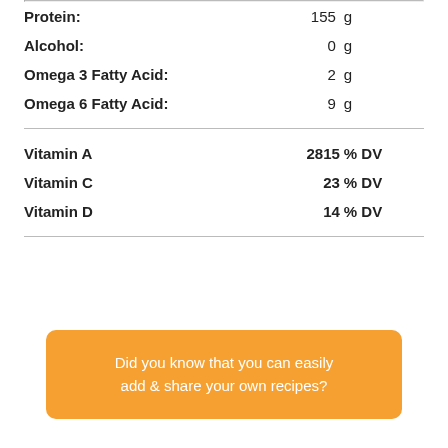| Nutrient | Value | Unit/DV |
| --- | --- | --- |
| Protein: | 155 | g |
| Alcohol: | 0 | g |
| Omega 3 Fatty Acid: | 2 | g |
| Omega 6 Fatty Acid: | 9 | g |
| Vitamin A | 2815 | % DV |
| Vitamin C | 23 | % DV |
| Vitamin D | 14 | % DV |
Did you know that you can easily add & share your own recipes?